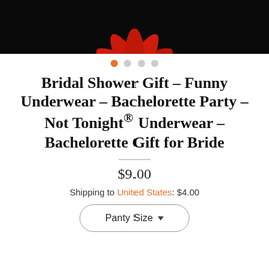[Figure (photo): Partial view of a red gerbera daisy flower with white center against a black background, cropped at top]
[Figure (other): Carousel navigation dots: four dots in a row, first dot is orange/active, remaining three are gray]
Bridal Shower Gift - Funny Underwear - Bachelorette Party - Not Tonight® Underwear - Bachelorette Gift for Bride
$9.00
Shipping to United States: $4.00
Panty Size